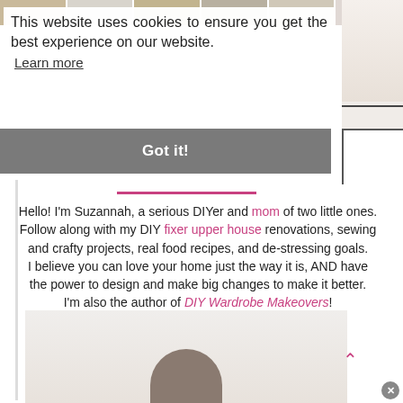[Figure (photo): Top strip of small thumbnail images]
This website uses cookies to ensure you get the best experience on our website. Learn more
Got it!
Hello! I'm Suzannah, a serious DIYer and mom of two little ones. Follow along with my DIY fixer upper house renovations, sewing and crafty projects, real food recipes, and de-stressing goals. I believe you can love your home just the way it is, AND have the power to design and make big changes to make it better. I'm also the author of DIY Wardrobe Makeovers!
[Figure (photo): Photo of Suzannah with wardrobe cabinetry in background]